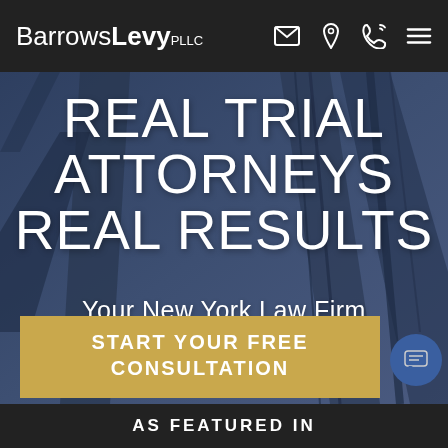Barrows Levy PLLC — navigation bar with logo and icons
REAL TRIAL ATTORNEYS REAL RESULTS
Your New York Law Firm
START YOUR FREE CONSULTATION
AS FEATURED IN